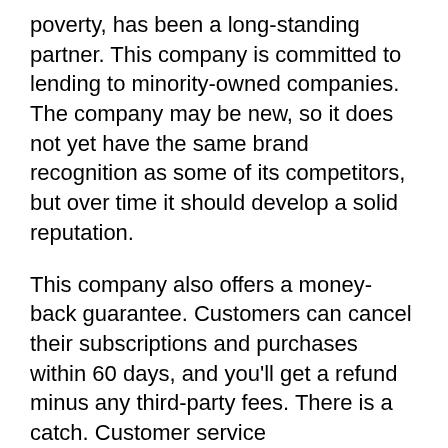poverty, has been a long-standing partner. This company is committed to lending to minority-owned companies. The company may be new, so it does not yet have the same brand recognition as some of its competitors, but over time it should develop a solid reputation.
This company also offers a money-back guarantee. Customers can cancel their subscriptions and purchases within 60 days, and you'll get a refund minus any third-party fees. There is a catch. Customer service representatives from the company may try to sell you additional services and charge extra for them. The downside of ZenBusiness is that it may not be for you.